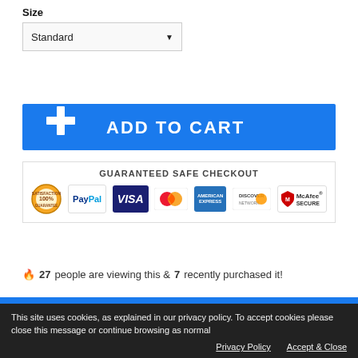Size
Standard ▾
[Figure (other): Blue Add to Cart button with plus cross icon]
[Figure (other): Guaranteed Safe Checkout badge with PayPal, Visa, MasterCard, American Express, Discover, McAfee Secure logos]
🔥 27 people are viewing this & 7 recently purchased it!
Description
This site uses cookies, as explained in our privacy policy. To accept cookies please close this message or continue browsing as normal
Privacy Policy   Accept & Close